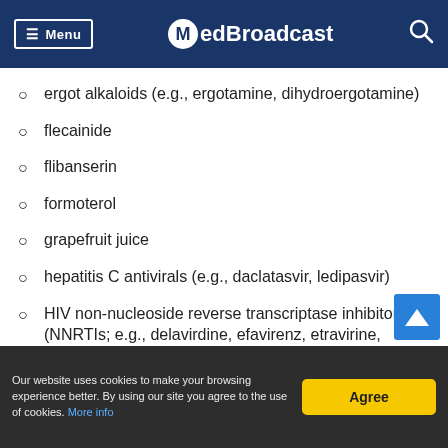Menu | MedBroadcast
ergot alkaloids (e.g., ergotamine, dihydroergotamine)
flecainide
flibanserin
formoterol
grapefruit juice
hepatitis C antivirals (e.g., daclatasvir, ledipasvir)
HIV non-nucleoside reverse transcriptase inhibitors (NNRTIs; e.g., delavirdine, efavirenz, etravirine, nevirapine)
Our website uses cookies to make your browsing experience better. By using our site you agree to the use of cookies. More info